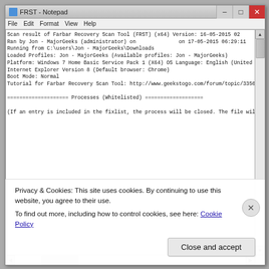[Figure (screenshot): Screenshot of FRST - Notepad window showing Farbar Recovery Scan Tool output. The text includes scan results header, processes section (whitelisted), registry section (whitelisted), and internet section (whitelisted). A cookie consent overlay is visible at the bottom of the screenshot.]
Privacy & Cookies: This site uses cookies. By continuing to use this website, you agree to their use.
To find out more, including how to control cookies, see here: Cookie Policy